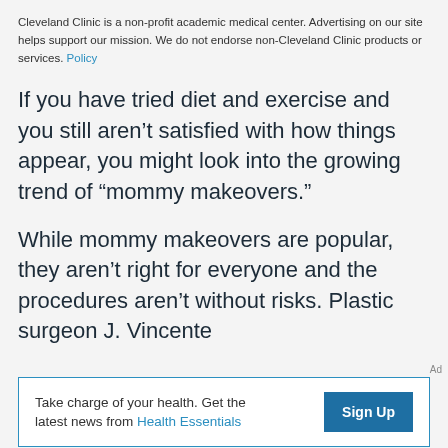Cleveland Clinic is a non-profit academic medical center. Advertising on our site helps support our mission. We do not endorse non-Cleveland Clinic products or services. Policy
If you have tried diet and exercise and you still aren’t satisfied with how things appear, you might look into the growing trend of “mommy makeovers.”
While mommy makeovers are popular, they aren’t right for everyone and the procedures aren’t without risks. Plastic surgeon J. Vincente
Ad
Take charge of your health. Get the latest news from Health Essentials